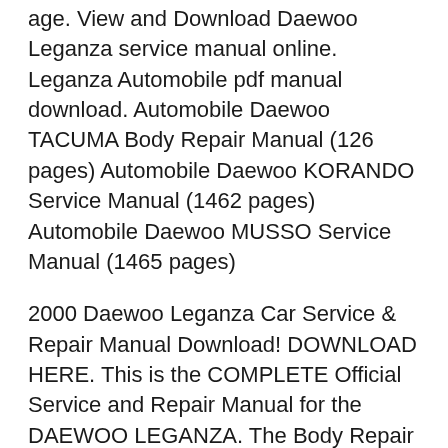age. View and Download Daewoo Leganza service manual online. Leganza Automobile pdf manual download. Automobile Daewoo TACUMA Body Repair Manual (126 pages) Automobile Daewoo KORANDO Service Manual (1462 pages) Automobile Daewoo MUSSO Service Manual (1465 pages)
2000 Daewoo Leganza Car Service & Repair Manual Download! DOWNLOAD HERE. This is the COMPLETE Official Service and Repair Manual for the DAEWOO LEGANZA. The Body Repair Manual (Fundamentals) and Frame Repair Manual (Fundamentals) contains additional information, including cautions and warnings, that are not included in DAEWOO LEGANZA 2000 SERVICE REPAIR MANUAL.